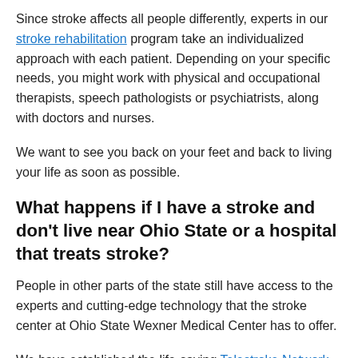Since stroke affects all people differently, experts in our stroke rehabilitation program take an individualized approach with each patient. Depending on your specific needs, you might work with physical and occupational therapists, speech pathologists or psychiatrists, along with doctors and nurses.
We want to see you back on your feet and back to living your life as soon as possible.
What happens if I have a stroke and don't live near Ohio State or a hospital that treats stroke?
People in other parts of the state still have access to the experts and cutting-edge technology that the stroke center at Ohio State Wexner Medical Center has to offer.
We have established the life-saving Telestroke Network, which includes 27 hospitals in rural areas. If you're taken to one of those emergency departments with stroke symptoms, experts would be mobilized both there and at Ohio State Wexner Medical Center through a stroke alert.